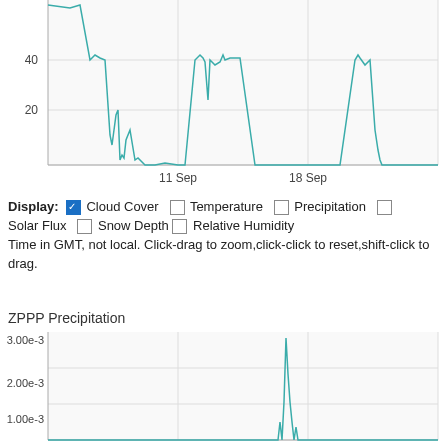[Figure (continuous-plot): Top portion of a line chart showing cloud cover data over time, with y-axis values 20 and 40 visible, and x-axis labels '11 Sep' and '18 Sep'. Teal/cyan colored line with sharp dips.]
Display: [checked] Cloud Cover  [ ] Temperature  [ ] Precipitation  [ ] Solar Flux  [ ] Snow Depth [ ] Relative Humidity
Time in GMT, not local. Click-drag to zoom,click-click to reset,shift-click to drag.
ZPPP Precipitation
[Figure (continuous-plot): Bottom portion of a line chart showing ZPPP Precipitation data. Y-axis shows values 1.00e-3, 2.00e-3, 3.00e-3. A sharp spike reaches near 3.00e-3 in the middle-right portion of the chart. Teal/cyan colored line.]